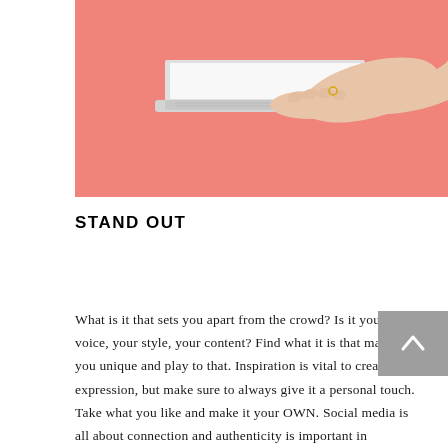[Figure (photo): A hand typing on a silver laptop computer against a pink/salmon colored background]
STAND OUT
What is it that sets you apart from the crowd? Is it your voice, your style, your content? Find what it is that makes you unique and play to that. Inspiration is vital to creative expression, but make sure to always give it a personal touch. Take what you like and make it your OWN. Social media is all about connection and authenticity is important in building a relationship with your audience. People will always be drawn to what's real rather than